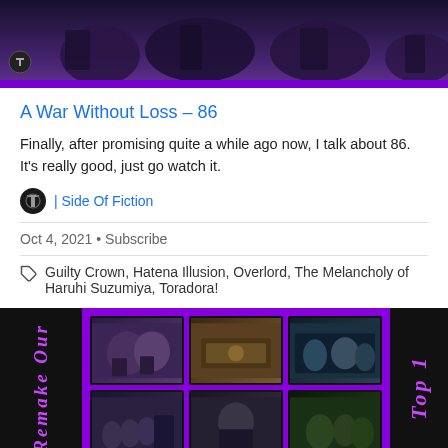[Figure (screenshot): Anime screenshot thumbnail with purple banner background showing character silhouettes]
A War Without Loss – 86
Finally, after promising quite a while ago now, I talk about 86. It's really good, just go watch it.
| Side Of Fiction
Oct 4, 2021 • Subscribe
Guilty Crown, Hatena Illusion, Overlord, The Melancholy of Haruhi Suzumiya, Toradora!
[Figure (screenshot): Anime thumbnail collage on purple/black background with vertical text 'Remake Our' on left and 'Top 1' on right]